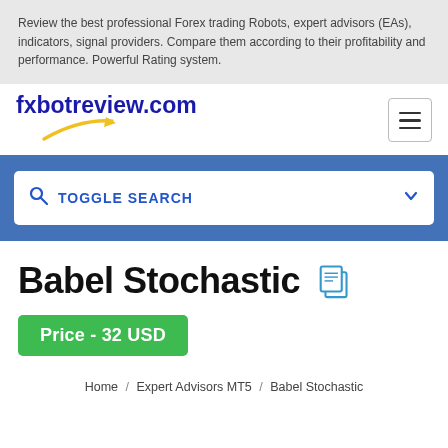Review the best professional Forex trading Robots, expert advisors (EAs), indicators, signal providers. Compare them according to their profitability and performance. Powerful Rating system.
[Figure (logo): fxbotreview.com logo with blue text and yellow arrow underneath]
[Figure (other): Hamburger menu button with three horizontal lines]
TOGGLE SEARCH
Babel Stochastic
Price - 32 USD
Home / Expert Advisors MT5 / Babel Stochastic